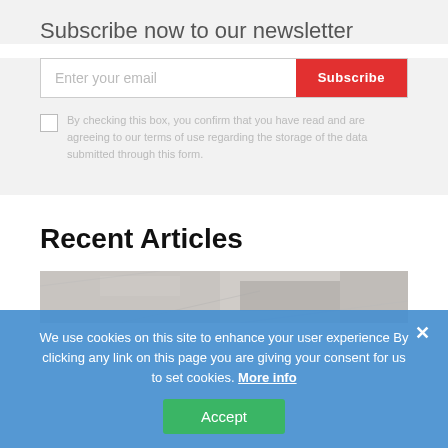Subscribe now to our newsletter
Enter your email
Subscribe
By checking this box, you confirm that you have read and are agreeing to our terms of use regarding the storage of the data submitted through this form.
Recent Articles
[Figure (photo): Partial view of an article thumbnail image with a textured/marble-like background]
We use cookies on this site to enhance your user experience By clicking any link on this page you are giving your consent for us to set cookies. More info
Accept